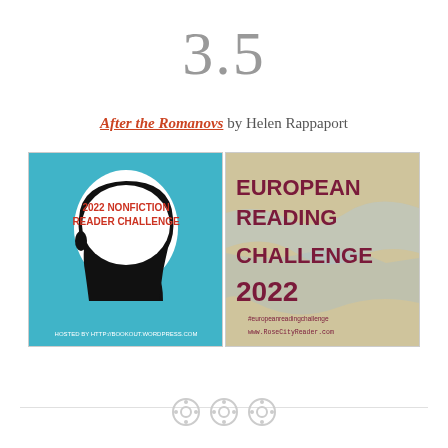3.5
After the Romanovs by Helen Rappaport
[Figure (illustration): 2022 Nonfiction Reader Challenge badge: blue background with black silhouette of a human head profile, white brain area with red text '2022 NONFICTION READER CHALLENGE', caption 'HOSTED BY HTTP://BOOKOUT.WORDPRESS.COM']
[Figure (illustration): European Reading Challenge 2022 badge: vintage map of Europe background, dark red text 'EUROPEAN READING CHALLENGE 2022', hashtag '#europeanreadingchallenge', 'www.RoseCityReader.com']
button icons decoration